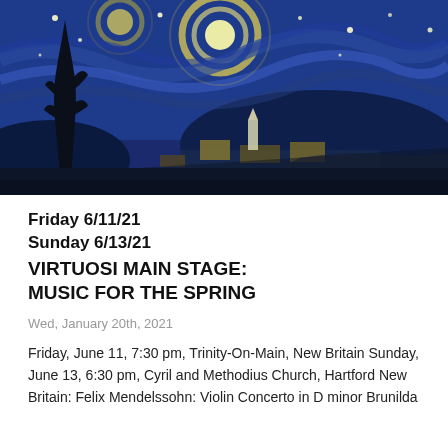[Figure (illustration): Van Gogh's Starry Night style painting showing a swirling night sky with bright stars and moon, a dark cypress tree on the left, and a village with church steeple below, hills in the background.]
Friday 6/11/21
Sunday 6/13/21
VIRTUOSI MAIN STAGE: MUSIC FOR THE SPRING
Wed, January 20th, 2021
Friday, June 11, 7:30 pm, Trinity-On-Main, New Britain Sunday, June 13, 6:30 pm, Cyril and Methodius Church, Hartford New Britain: Felix Mendelssohn: Violin Concerto in D minor Brunilda